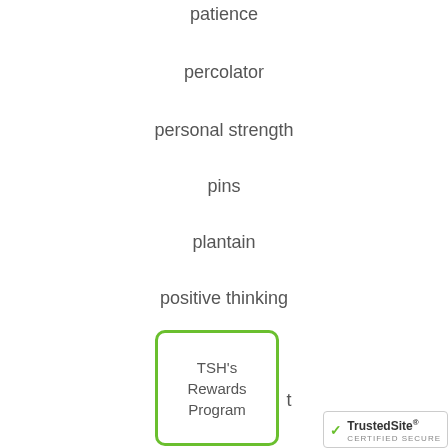patience
percolator
personal strength
pins
plantain
positive thinking
pregnancy
[Figure (other): TSH's Rewards Program promotional box with green border overlay on partially visible list item text]
[Figure (logo): TrustedSite Certified Secure badge in bottom right corner]